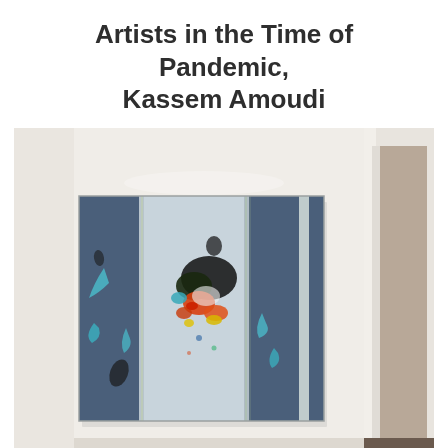Artists in the Time of Pandemic, Kassem Amoudi
[Figure (photo): Photograph of an abstract painting hanging on a white wall in a gallery or home interior. The painting features vertical panels in blue-grey tones with colorful abstract marks and splatters in the center including orange, red, teal, black, and yellow. A white doorframe is visible on the right side of the room.]